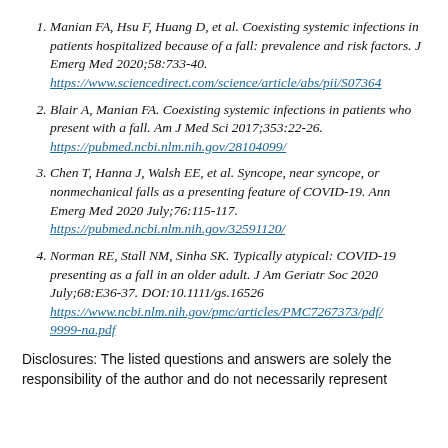Manian FA, Hsu F, Huang D, et al. Coexisting systemic infections in patients hospitalized because of a fall: prevalence and risk factors. J Emerg Med 2020;58:733-40.
https://www.sciencedirect.com/science/article/abs/pii/S07364
Blair A, Manian FA. Coexisting systemic infections in patients who present with a fall. Am J Med Sci 2017;353:22-26.
https://pubmed.ncbi.nlm.nih.gov/28104099/
Chen T, Hanna J, Walsh EE, et al. Syncope, near syncope, or nonmechanical falls as a presenting feature of COVID-19. Ann Emerg Med 2020 July;76:115-117.
https://pubmed.ncbi.nlm.nih.gov/32591120/
Norman RE, Stall NM, Sinha SK. Typically atypical: COVID-19 presenting as a fall in an older adult. J Am Geriatr Soc 2020 July;68:E36-37. DOI:10.1111/gs.16526
https://www.ncbi.nlm.nih.gov/pmc/articles/PMC7267373/pdf/9999-na.pdf
Disclosures: The listed questions and answers are solely the responsibility of the author and do not necessarily represent